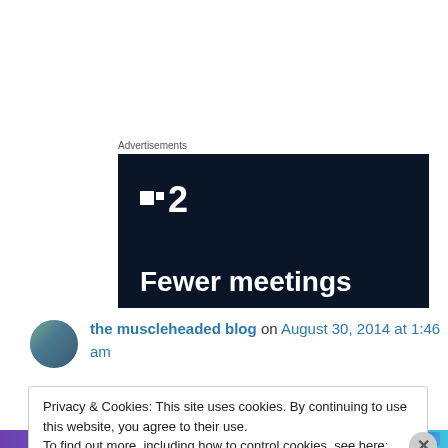Advertisements
[Figure (illustration): Dark navy advertisement banner with white logo showing two squares and the number 2 (Plan2 or similar) and text 'Fewer meetings' at the bottom in white bold font.]
the muscleheaded blog on August 30, 2014 at 1:46 am
Privacy & Cookies: This site uses cookies. By continuing to use this website, you agree to their use.
To find out more, including how to control cookies, see here: Cookie Policy